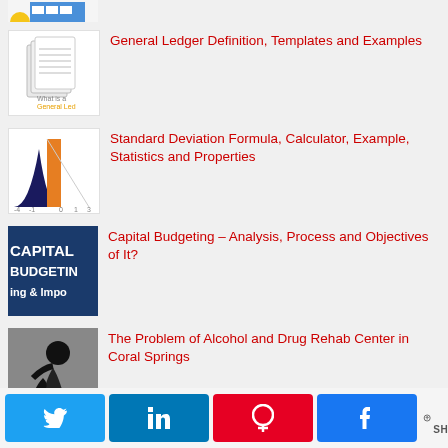[Figure (illustration): Partial thumbnail of a building/storefront illustration (cropped at top)]
General Ledger Definition, Templates and Examples
Standard Deviation Formula, Calculator, Example, Statistics and Properties
Capital Budgeting – Analysis, Process and Objectives of It?
The Problem of Alcohol and Drug Rehab Center in Coral Springs
0 SHARES (social share bar with Twitter, LinkedIn, Pinterest, Facebook buttons)